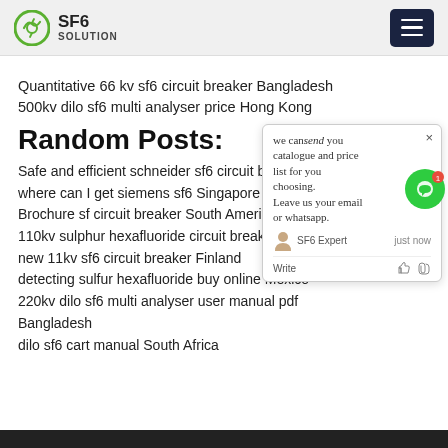SF6 SOLUTION
Quantitative 66 kv sf6 circuit breaker Bangladesh 500kv dilo sf6 multi analyser price Hong Kong
Random Posts:
Safe and efficient schneider sf6 circuit breaker …m
where can I get siemens sf6 Singapore
Brochure sf circuit breaker South America
110kv sulphur hexafluoride circuit break…
new 11kv sf6 circuit breaker Finland
detecting sulfur hexafluoride buy online Mexico
220kv dilo sf6 multi analyser user manual pdf Bangladesh
dilo sf6 cart manual South Africa
[Figure (screenshot): Chat popup widget with close button, message about sending catalogue and price list, SF6 Expert agent icon, Write input area with like and attachment icons]